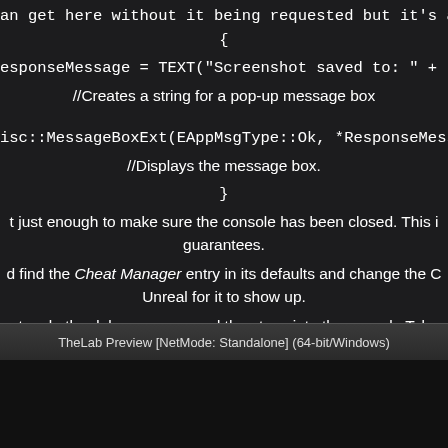an get here without it being requested but it's a safety thing m
{
esponseMessage = TEXT("Screenshot saved to: " + request->G
//Creates a string for a pop-up message box
isc::MessageBoxExt(EAppMsgType::Ok, *ResponseMessage, T
//Displays the message box.
}
t just enough to make sure the console has been closed. This i guarantees.
d find the Cheat Manager entry in its defaults and change the C Unreal for it to show up.
, toggle the debug camera and then type into the console Take
[Figure (screenshot): Unreal Engine taskbar showing TheLab Preview [NetMode: Standalone] (64-bit/Windows)]